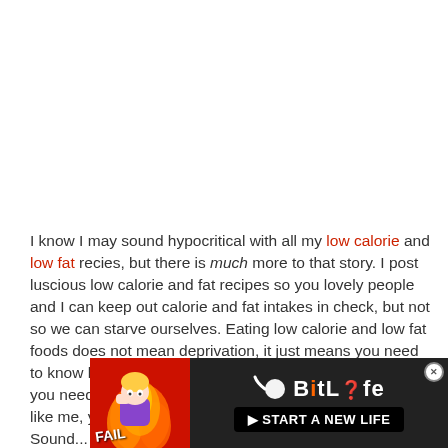I know I may sound hypocritical with all my low calorie and low fat recies, but there is much more to that story. I post luscious low calorie and fat recipes so you lovely people and I can keep out calorie and fat intakes in check, but not so we can starve ourselves. Eating low calorie and low fat foods does not mean deprivation, it just means you need to know how much you have to eat to get the nutrients you need (yay big portion sizes!). Plus, if you are anything like me, you appreciate being able to eat 10 ... cookie. Sound...
[Figure (screenshot): Advertisement banner for BitLife game showing FAIL text, a cartoon character, flames, a sperm icon, and 'START A NEW LIFE' button on dark background]